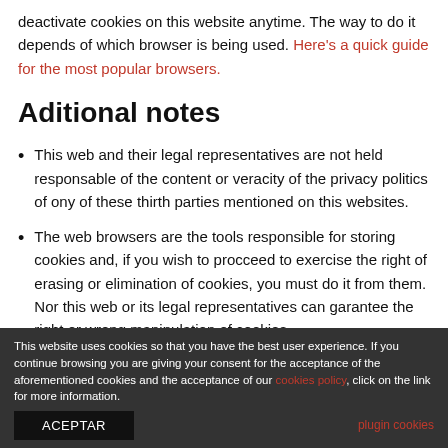deactivate cookies on this website anytime. The way to do it depends of which browser is being used. Here's a quick guide for the most popular browsers.
Aditional notes
This web and their legal representatives are not held responsable of the content or veracity of the privacy politics of ony of these thirth parties mentioned on this websites.
The web browsers are the tools responsible for storing cookies and, if you wish to procceed to exercise the right of erasing or elimination of cookies, you must do it from them. Nor this web or its legal representatives can garantee the right or wrong manipulation of cookies
This website uses cookies so that you have the best user experience. If you continue browsing you are giving your consent for the acceptance of the aforementioned cookies and the acceptance of our cookies policy, click on the link for more information.
ACEPTAR
plugin cookies